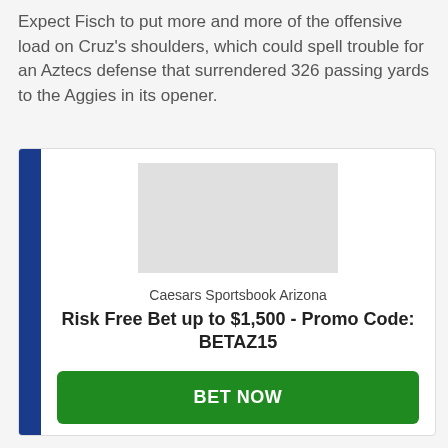Expect Fisch to put more and more of the offensive load on Cruz's shoulders, which could spell trouble for an Aztecs defense that surrendered 326 passing yards to the Aggies in its opener.
[Figure (other): Advertisement card for Caesars Sportsbook Arizona with a logo placeholder image, offer text 'Risk Free Bet up to $1,500 - Promo Code: BETAZ15', a green BET NOW button, and a link to Caesars Sportsbook Arizona Review. Card has a blue left bar.]